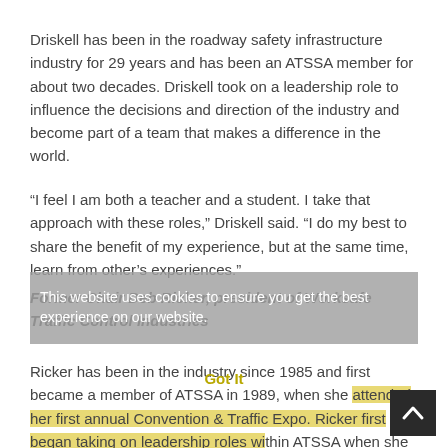Driskell has been in the roadway safety infrastructure industry for 29 years and has been an ATSSA member for about two decades. Driskell took on a leadership role to influence the decisions and direction of the industry and become part of a team that makes a difference in the world.
“I feel I am both a teacher and a student. I take that approach with these roles,” Driskell said. “I do my best to share the benefit of my experience, but at the same time, learn from other’s experiences.”
Former Chair Deb Ricker, president of Worksafe Traffic Control Industries
Ricker has been in the industry since 1985 and first became a member of ATSSA in 1989, when she attended her first annual Convention & Traffic Expo. Ricker first began taking on leadership roles within ATSSA when she became interested in state government relations work and began attending ATSSA